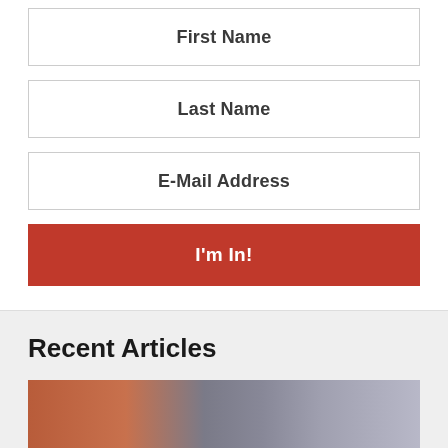First Name
Last Name
E-Mail Address
I'm In!
Recent Articles
[Figure (photo): Article thumbnail photo showing a person with a tablet/calculator]